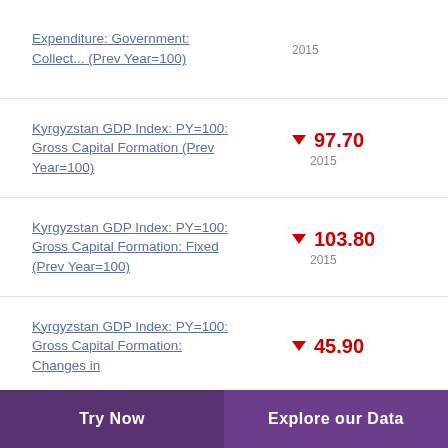Expenditure: Government: Collect... (Prev Year=100)
Kyrgyzstan GDP Index: PY=100: Gross Capital Formation (Prev Year=100)
Kyrgyzstan GDP Index: PY=100: Gross Capital Formation: Fixed (Prev Year=100)
Kyrgyzstan GDP Index: PY=100: Gross Capital Formation: Changes in
Try Now    Explore our Data